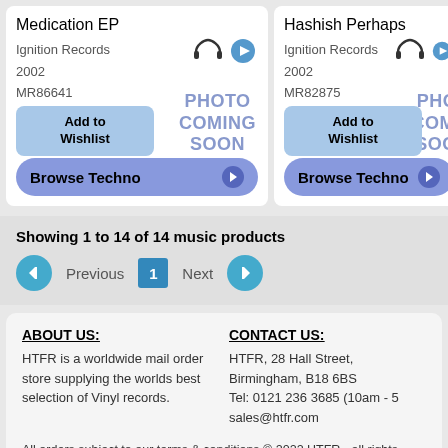Medication EP
Ignition Records
2002
MR86641
UK 12"
PHOTO COMING SOON
Add to Wishlist
Browse Techno
Hashish Perhaps
Ignition Records
2002
MR82875
UK 12"
PHOTO COMING SOON
Add to Wishlist
Browse Techno
Showing 1 to 14 of 14 music products
Previous  1  Next
ABOUT US:
HTFR is a worldwide mail order store supplying the worlds best selection of Vinyl records.
CONTACT US:
HTFR, 28 Hall Street, Birmingham, B18 6BS
Tel: 0121 236 3685 (10am - 5
sales@htfr.com
All orders subject to our terms & conditions © 2022 HTFR - all rights reserved